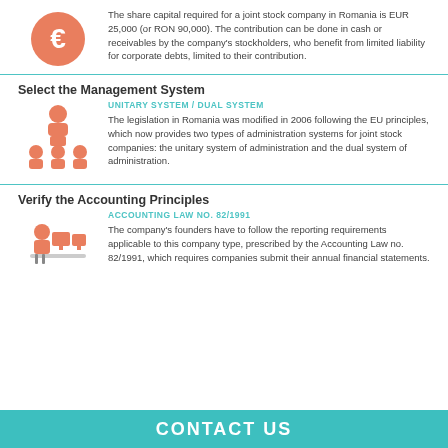[Figure (illustration): Orange circle with white Euro currency symbol]
The share capital required for a joint stock company in Romania is EUR 25,000 (or RON 90,000). The contribution can be done in cash or receivables by the company's stockholders, who benefit from limited liability for corporate debts, limited to their contribution.
Select the Management System
UNITARY SYSTEM / DUAL SYSTEM
[Figure (illustration): Orange icon showing a speaker at a podium with audience members]
The legislation in Romania was modified in 2006 following the EU principles, which now provides two types of administration systems for joint stock companies: the unitary system of administration and the dual system of administration.
Verify the Accounting Principles
ACCOUNTING LAW NO. 82/1991
[Figure (illustration): Orange icon showing a person working at a desk with computer screens]
The company's founders have to follow the reporting requirements applicable to this company type, prescribed by the Accounting Law no. 82/1991, which requires companies submit their annual financial statements.
CONTACT US